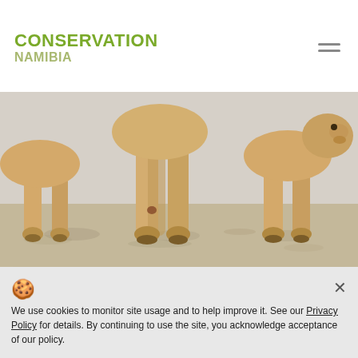CONSERVATION NAMIBIA
[Figure (photo): Close-up photograph of lion legs/lower bodies walking on a sandy/rocky ground, multiple lions side by side]
2019 magazine articles
Conservation Namibia brought to
We use cookies to monitor site usage and to help improve it. See our Privacy Policy for details. By continuing to use the site, you acknowledge acceptance of our policy.